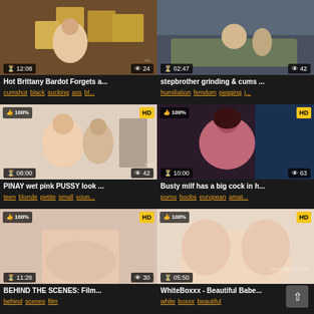[Figure (screenshot): Video thumbnail grid showing 6 adult video thumbnails with titles and tags]
Hot Brittany Bardot Forgets a...
cumshot black sucking ass bl...
stepbrother grinding & cums ...
humiliation femdom pegging j...
PINAY wet pink PUSSY look ...
teen blonde petite small youn...
Busty milf has a big cock in h...
porno boobs european amat...
BEHIND THE SCENES: Film...
WhiteBoxxx - Beautiful Babe...